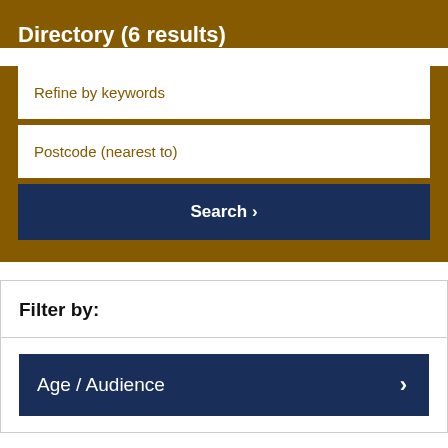Directory (6 results)
Refine by keywords
Postcode (nearest to)
Search >
Filter by:
Age / Audience